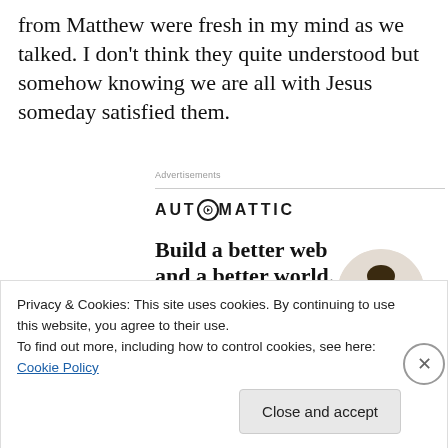from Matthew were fresh in my mind as we talked. I don't think they quite understood but somehow knowing we are all with Jesus someday satisfied them.
[Figure (other): Automattic advertisement banner with 'Build a better web and a better world.' headline, Apply button, and image of a person thinking]
Privacy & Cookies: This site uses cookies. By continuing to use this website, you agree to their use.
To find out more, including how to control cookies, see here: Cookie Policy